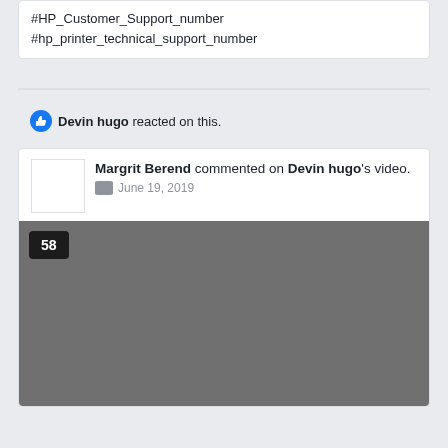#HP_Customer_Support_number
#hp_printer_technical_support_number
Devin hugo reacted on this.
Margrit Berend commented on Devin hugo's video.
June 19, 2019
[Figure (screenshot): Video thumbnail showing counter '58' on dark background]